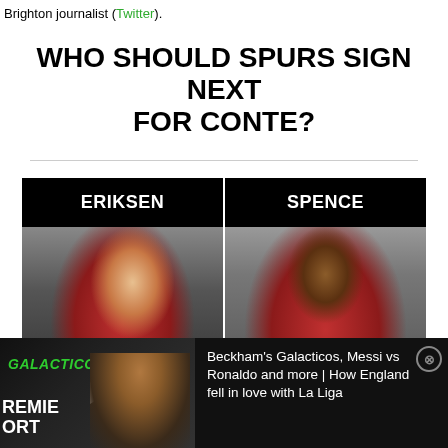Brighton journalist (Twitter).
WHO SHOULD SPURS SIGN NEXT FOR CONTE?
[Figure (other): Two-column poll layout with player photos. Left column: ERIKSEN with photo of player in red training kit. Right column: SPENCE with photo of player in red jersey celebrating with arms raised.]
[Figure (other): Bottom advertisement bar showing a video thumbnail with GALACTICOS and GOATS text overlaid, a Premier Sports logo, and text: Beckham's Galacticos, Messi vs Ronaldo and more | How England fell in love with La Liga. Close button (X) top right.]